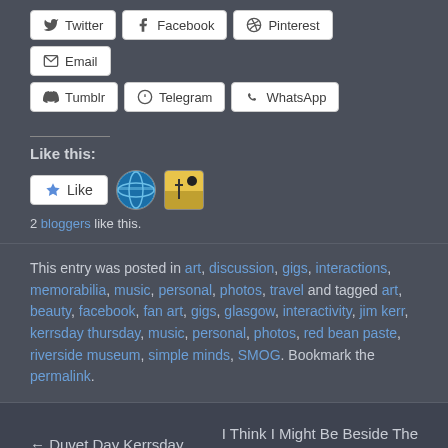Twitter
Facebook
Pinterest
Email
Tumblr
Telegram
WhatsApp
Like this:
2 bloggers like this.
This entry was posted in art, discussion, gigs, interactions, memorabilia, music, personal, photos, travel and tagged art, beauty, facebook, fan art, gigs, glasgow, interactivity, jim kerr, kerrsday thursday, music, personal, photos, red bean paste, riverside museum, simple minds, SMOG. Bookmark the permalink.
← Duvet Day Kerrsday
I Think I Might Be Beside The Seaside… →